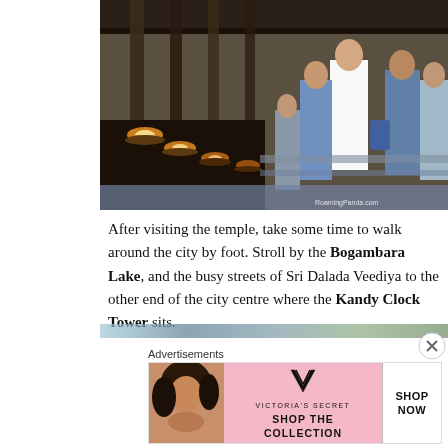[Figure (photo): People lighting oil lamps at a Buddhist temple corridor, with rows of oil lamps in the foreground and worshippers standing in the background. Watermark reads RoamingPanda.com]
After visiting the temple, take some time to walk around the city by foot. Stroll by the Bogambara Lake, and the busy streets of Sri Dalada Veediya to the other end of the city centre where the Kandy Clock Tower sits.
[Figure (photo): Partially visible image strip at the bottom of the content area]
Advertisements
[Figure (infographic): Victoria's Secret advertisement banner with pink background, model photo, VS logo, text SHOP THE COLLECTION, and SHOP NOW button]